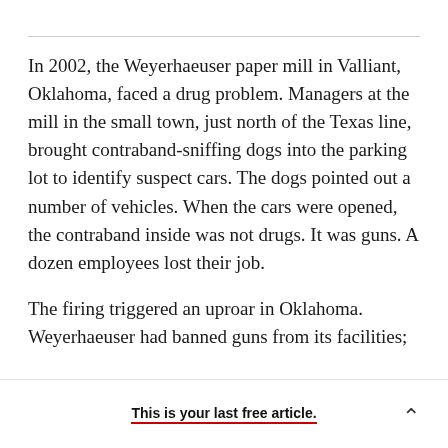In 2002, the Weyerhaeuser paper mill in Valliant, Oklahoma, faced a drug problem. Managers at the mill in the small town, just north of the Texas line, brought contraband-sniffing dogs into the parking lot to identify suspect cars. The dogs pointed out a number of vehicles. When the cars were opened, the contraband inside was not drugs. It was guns. A dozen employees lost their job.

The firing triggered an uproar in Oklahoma. Weyerhaeuser had banned guns from its facilities;
This is your last free article.